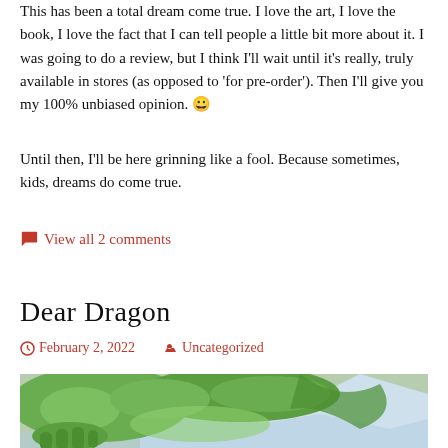This has been a total dream come true. I love the art, I love the book, I love the fact that I can tell people a little bit more about it. I was going to do a review, but I think I'll wait until it's really, truly available in stores (as opposed to 'for pre-order'). Then I'll give you my 100% unbiased opinion. 😀
Until then, I'll be here grinning like a fool. Because sometimes, kids, dreams do come true.
View all 2 comments
Dear Dragon
February 2, 2022    Uncategorized
[Figure (illustration): Close-up illustration of a green dragon, showing its scaly body and claws with a light blue background.]